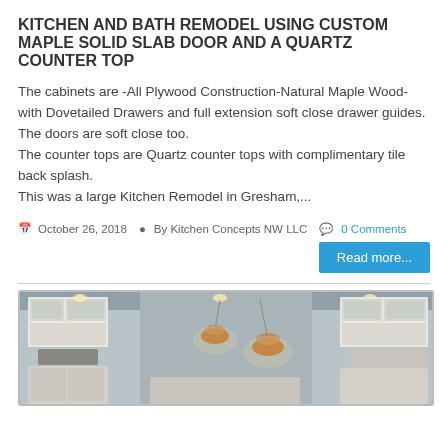KITCHEN AND BATH REMODEL USING CUSTOM MAPLE SOLID SLAB DOOR AND A QUARTZ COUNTER TOP
The cabinets are -All Plywood Construction-Natural Maple Wood-with Dovetailed Drawers and full extension soft close drawer guides. The doors are soft close too.
The counter tops are Quartz counter tops with complimentary tile back splash.
This was a large Kitchen Remodel in Gresham,...
October 26, 2018  By Kitchen Concepts NW LLC  0 Comments
[Figure (photo): Interior kitchen photo showing white cabinets with glass-front upper doors, pendant copper lights hanging over a kitchen island, and recessed ceiling lights.]